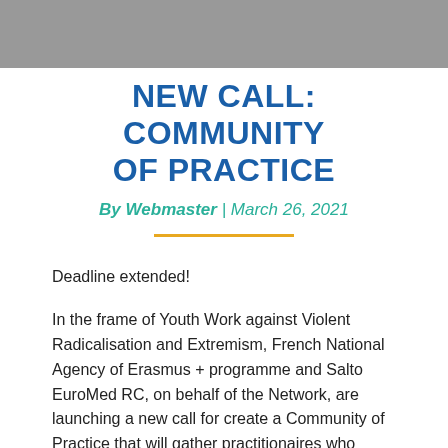NEW CALL: COMMUNITY OF PRACTICE
By Webmaster | March 26, 2021
Deadline extended!
In the frame of Youth Work against Violent Radicalisation and Extremism, French National Agency of Erasmus + programme and Salto EuroMed RC, on behalf of the Network, are launching a new call for create a Community of Practice that will gather practitionaires who would like to share their experiences, tools and methodology about youth